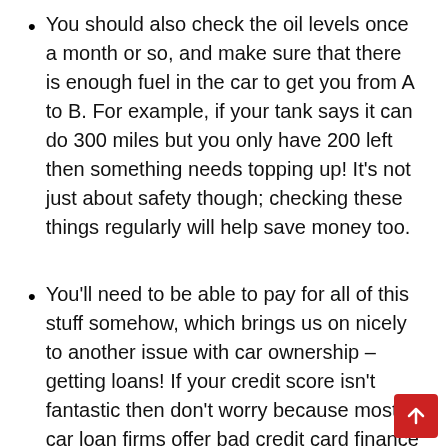You should also check the oil levels once a month or so, and make sure that there is enough fuel in the car to get you from A to B. For example, if your tank says it can do 300 miles but you only have 200 left then something needs topping up! It’s not just about safety though; checking these things regularly will help save money too.
You’ll need to be able to pay for all of this stuff somehow, which brings us on nicely to another issue with car ownership – getting loans! If your credit score isn’t fantastic then don’t worry because most car loan firms offer bad credit card finance as well as good ones. The key thing here is that they want to know that you are in a